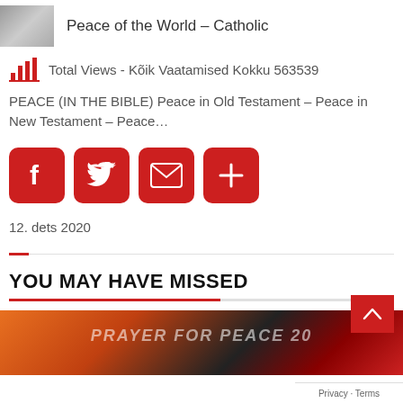Peace of the World – Catholic
Total Views - Kõik Vaatamised Kokku 563539
PEACE (IN THE BIBLE) Peace in Old Testament – Peace in New Testament – Peace…
[Figure (infographic): Social share buttons: Facebook, Twitter, Email, More (plus sign)]
12. dets 2020
YOU MAY HAVE MISSED
[Figure (photo): Decorative image with text PRAYER FOR PEACE 20... showing fire, feathers, a figure and a rider on white horse in red]